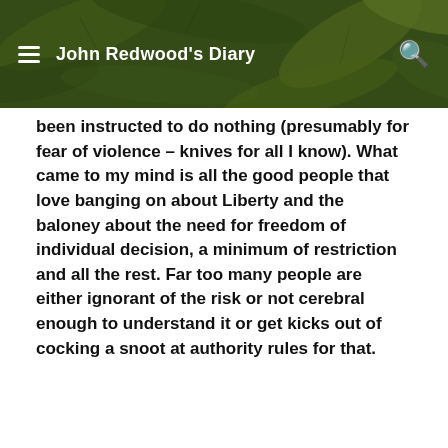John Redwood's Diary
been instructed to do nothing (presumably for fear of violence – knives for all I know). What came to my mind is all the good people that love banging on about Liberty and the baloney about the need for freedom of individual decision, a minimum of restriction and all the rest. Far too many people are either ignorant of the risk or not cerebral enough to understand it or get kicks out of cocking a snoot at authority rules for that.
Leslie Singleton
March 31, 2021
Cocking a snook, I think